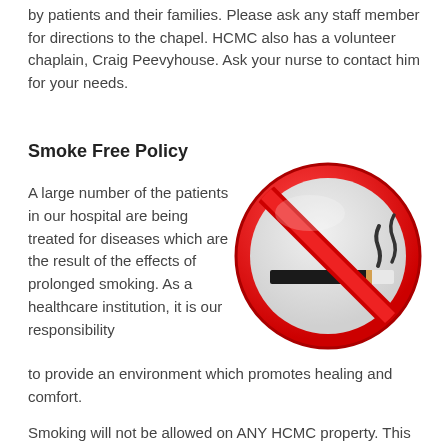by patients and their families. Please ask any staff member for directions to the chapel. HCMC also has a volunteer chaplain, Craig Peevyhouse. Ask your nurse to contact him for your needs.
Smoke Free Policy
A large number of the patients in our hospital are being treated for diseases which are the result of the effects of prolonged smoking. As a healthcare institution, it is our responsibility to provide an environment which promotes healing and comfort.
[Figure (illustration): A red no-smoking sign (circle with a diagonal red line through a cigarette icon)]
Smoking will not be allowed on ANY HCMC property. This